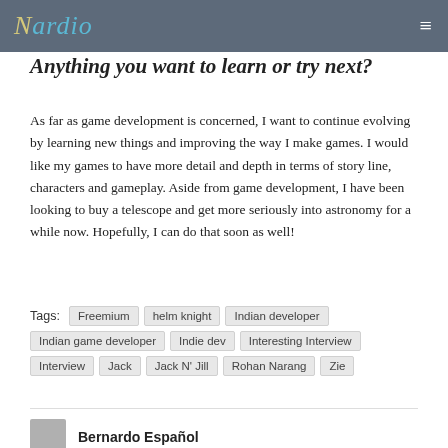Nardio
Anything you want to learn or try next?
As far as game development is concerned, I want to continue evolving by learning new things and improving the way I make games. I would like my games to have more detail and depth in terms of story line, characters and gameplay. Aside from game development, I have been looking to buy a telescope and get more seriously into astronomy for a while now. Hopefully, I can do that soon as well!
Tags: Freemium  helm knight  Indian developer  Indian game developer  Indie dev  Interesting Interview  Interview  Jack  Jack N' Jill  Rohan Narang  Zie
Bernardo Español